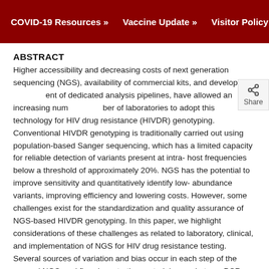COVID-19 Resources » Vaccine Update » Visitor Policy »
ABSTRACT
Higher accessibility and decreasing costs of next generation sequencing (NGS), availability of commercial kits, and development of dedicated analysis pipelines, have allowed an increasing number of laboratories to adopt this technology for HIV drug resistance (HIVDR) genotyping. Conventional HIVDR genotyping is traditionally carried out using population-based Sanger sequencing, which has a limited capacity for reliable detection of variants present at intra-host frequencies below a threshold of approximately 20%. NGS has the potential to improve sensitivity and quantitatively identify low-abundance variants, improving efficiency and lowering costs. However, some challenges exist for the standardization and quality assurance of NGS-based HIVDR genotyping. In this paper, we highlight considerations of these challenges as related to laboratory, clinical, and implementation of NGS for HIV drug resistance testing. Several sources of variation and bias occur in each step of the general NGS workflow, i.e., starting material, sample type, PCR